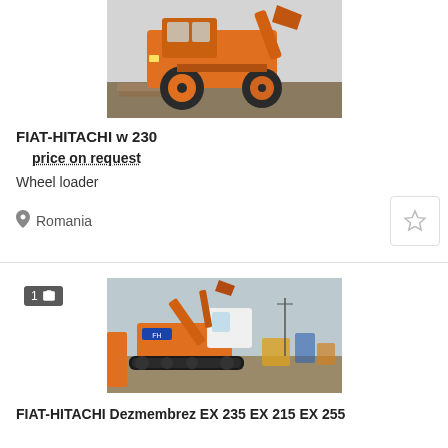[Figure (photo): Orange FIAT-HITACHI wheel loader photographed from the front-left, parked outdoors]
FIAT-HITACHI w 230
price on request
Wheel loader
Romania
[Figure (photo): Orange FIAT-HITACHI tracked excavator (EX 235 / EX 215 / EX 255) in a yard with other machines in the background]
1 (photo count badge)
FIAT-HITACHI Dezmembrez EX 235 EX 215 EX 255